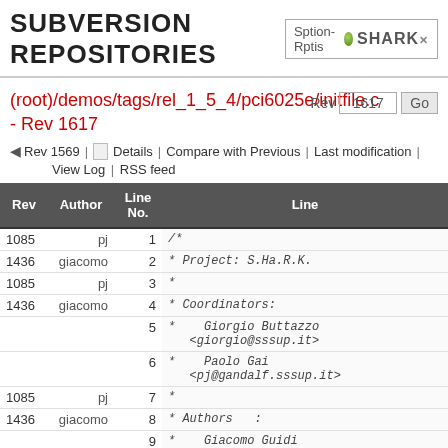SUBVERSION REPOSITORIES — Sption-Rptis SHARK
(root)/demos/tags/rel_1_5_4/pci6025e/initfile.c - Rev 1617
Rev 1569 | Details | Compare with Previous | Last modification | View Log | RSS feed
| Rev | Author | Line No. | Line |
| --- | --- | --- | --- |
| 1085 | pj | 1 | /* |
| 1436 | giacomo | 2 | * Project: S.Ha.R.K. |
| 1085 | pj | 3 | * |
| 1436 | giacomo | 4 | * Coordinators: |
|  |  | 5 | *    Giorgio Buttazzo <giorgio@sssup.it> |
|  |  | 6 | *    Paolo Gai <pj@gandalf.sssup.it> |
| 1085 | pj | 7 | * |
| 1436 | giacomo | 8 | * Authors   : |
|  |  | 9 | *    Giacomo Guidi |